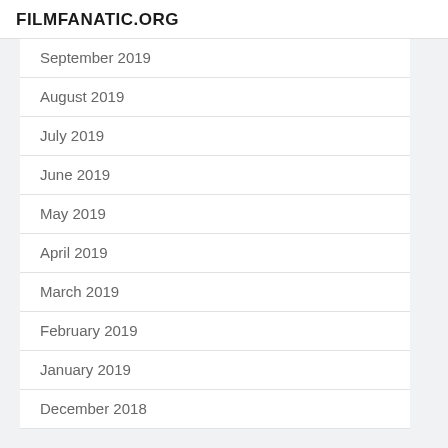FILMFANATIC.ORG
September 2019
August 2019
July 2019
June 2019
May 2019
April 2019
March 2019
February 2019
January 2019
December 2018